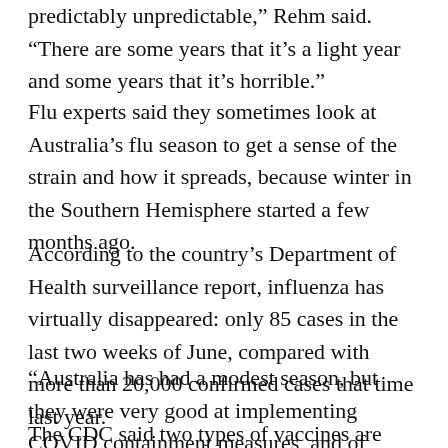predictably unpredictable,” Rehm said. “There are some years that it’s a light year and some years that it’s horrible.”
Flu experts said they sometimes look at Australia’s flu season to get a sense of the strain and how it spreads, because winter in the Southern Hemisphere started a few months ago.
According to the country’s Department of Health surveillance report, influenza has virtually disappeared: only 85 cases in the last two weeks of June, compared with more than 20,000 confirmed cases that time last year.
“Australia has had a modest season, but they were very good at implementing COVID containment measures, and of course, we’re not,” Schaffner said. “So we’re anticipating that we’re going to have a flu season that’s substantial.”
The CDC said two types of vaccines are available for the